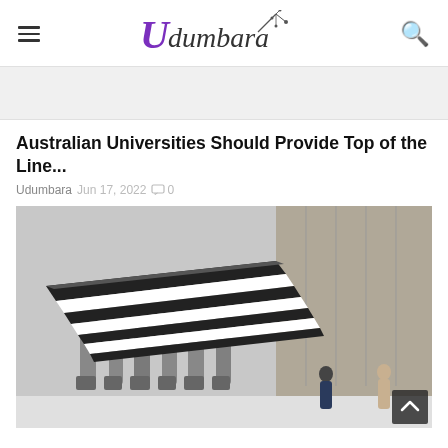Udumbara
[Figure (other): Gray placeholder banner area]
Australian Universities Should Provide Top of the Line...
Udumbara  Jun 17, 2022  0
[Figure (photo): Photograph of sculptural figures supporting a striped canopy/awning structure in front of a tall concrete building, with people walking in the background in winter]